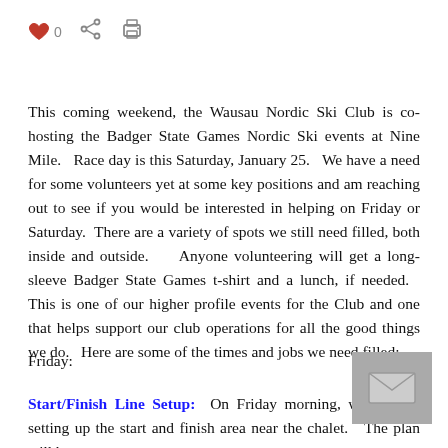❤ 0  [share icon]  [print icon]
This coming weekend, the Wausau Nordic Ski Club is co-hosting the Badger State Games Nordic Ski events at Nine Mile.   Race day is this Saturday, January 25.   We have a need for some volunteers yet at some key positions and am reaching out to see if you would be interested in helping on Friday or Saturday.  There are a variety of spots we still need filled, both inside and outside.    Anyone volunteering will get a long-sleeve Badger State Games t-shirt and a lunch, if needed.   This is one of our higher profile events for the Club and one that helps support our club operations for all the good things we do.   Here are some of the times and jobs we need filled:
Friday:
Start/Finish Line Setup:  On Friday morning, we will be setting up the start and finish area near the chalet.   The plan will be to